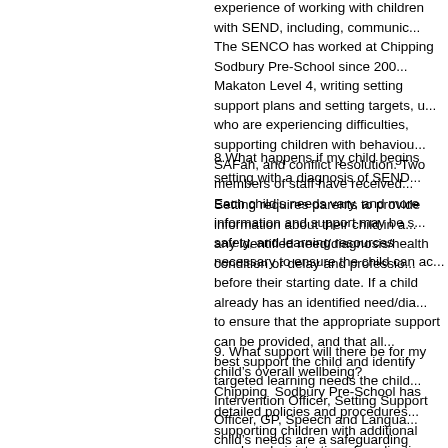experience of working with children with SEND, including, communic... The SENCO has worked at Chipping Sodbury Pre-School since 200... Makaton Level 4, writing setting support plans and setting targets, u... who are experiencing difficulties, supporting children with behaviou... SAFah, and conflict resolution. Two members of staff have received... Each child's needs vary, and more information and support may be s... safety, and learning resources necessary to ensure the child can ac...
8.What happens if my child begins setting with a diagnosis of SEND...
Setting requires parents to provide information about their child in a... any identified need/diagnosis/health condition or delay and professio... before their starting date. If a child already has an identified need/dia... to ensure that the appropriate support can be provided, and that all... best support the child and identify targeted learning needs the child... Intervention Officer, Setting Support Officer, GP, Speech and Langua... child's needs are a safeguarding concern, then the best interests of...
9. What support will there be for my child's overall wellbeing?
Chipping Sodbury Pre-School has detailed policies and procedures... supporting children with additional needs, administration of medicati... entrance hall. Children's personal, social and emotional development is one of the... curiosity, independence, and resilience, helps lay a strong foundatio... settings first priority to focus on a child's personal, social and emotio... information about a child before they start, and establishing a relatio... which help children and families familiarise themselves with the sett... are invited to discuss care routines and procedures. If the child rec...